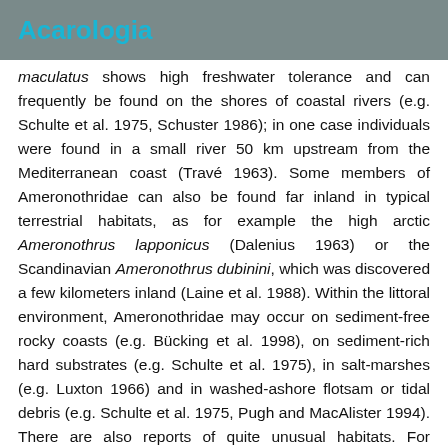Acarologia
maculatus shows high freshwater tolerance and can frequently be found on the shores of coastal rivers (e.g. Schulte et al. 1975, Schuster 1986); in one case individuals were found in a small river 50 km upstream from the Mediterranean coast (Travé 1963). Some members of Ameronothridae can also be found far inland in typical terrestrial habitats, as for example the high arctic Ameronothrus lapponicus (Dalenius 1963) or the Scandinavian Ameronothrus dubinini, which was discovered a few kilometers inland (Laine et al. 1988). Within the littoral environment, Ameronothridae may occur on sediment-free rocky coasts (e.g. Bücking et al. 1998), on sediment-rich hard substrates (e.g. Schulte et al. 1975), in salt-marshes (e.g. Luxton 1966) and in washed-ashore flotsam or tidal debris (e.g. Schulte et al. 1975, Pugh and MacAlister 1994). There are also reports of quite unusual habitats. For example, the Antarctic Alaskozetes